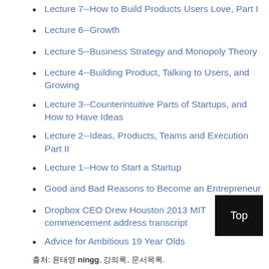Lecture 7--How to Build Products Users Love, Part I
Lecture 6--Growth
Lecture 5--Business Strategy and Monopoly Theory
Lecture 4--Building Product, Talking to Users, and Growing
Lecture 3--Counterintuitive Parts of Startups, and How to Have Ideas
Lecture 2--Ideas, Products, Teams and Execution Part II
Lecture 1--How to Start a Startup
Good and Bad Reasons to Become an Entrepreneur
Dropbox CEO Drew Houston 2013 MIT commencement address transcript
Advice for Ambitious 19 Year Olds
출처: 윤태영 ningg, 강의록, 문서목록.